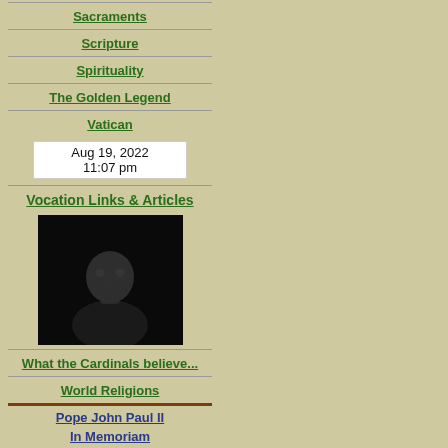Sacraments
Scripture
Spirituality
The Golden Legend
Vatican
Aug 19, 2022
11:07 pm
Vocation Links & Articles
[Figure (photo): Dark photo of a person, mostly in shadow, wearing a dark shirt]
What the Cardinals believe...
World Religions
Pope John Paul II
In Memoriam